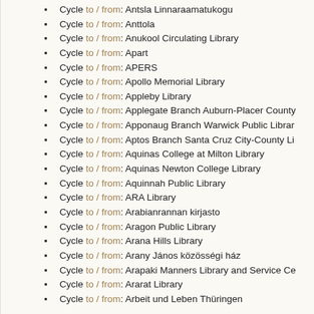Cycle to / from: Antsla Linnaraamatukogu
Cycle to / from: Anttola
Cycle to / from: Anukool Circulating Library
Cycle to / from: Apart
Cycle to / from: APERS
Cycle to / from: Apollo Memorial Library
Cycle to / from: Appleby Library
Cycle to / from: Applegate Branch Auburn-Placer County
Cycle to / from: Apponaug Branch Warwick Public Library
Cycle to / from: Aptos Branch Santa Cruz City-County Li
Cycle to / from: Aquinas College at Milton Library
Cycle to / from: Aquinas Newton College Library
Cycle to / from: Aquinnah Public Library
Cycle to / from: ARA Library
Cycle to / from: Arabianrannan kirjasto
Cycle to / from: Aragon Public Library
Cycle to / from: Arana Hills Library
Cycle to / from: Arany János közösségi ház
Cycle to / from: Arapaki Manners Library and Service Ce
Cycle to / from: Ararat Library
Cycle to / from: Arbeit und Leben Thüringen